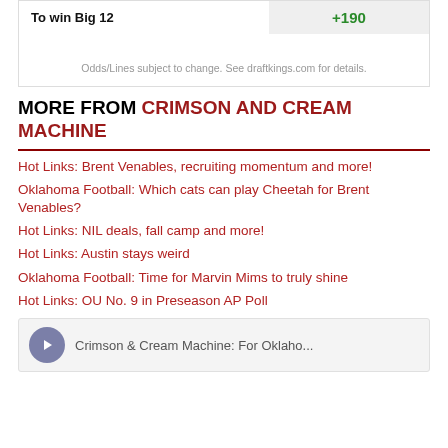|  |  |
| --- | --- |
| To win Big 12 | +190 |
Odds/Lines subject to change. See draftkings.com for details.
MORE FROM CRIMSON AND CREAM MACHINE
Hot Links: Brent Venables, recruiting momentum and more!
Oklahoma Football: Which cats can play Cheetah for Brent Venables?
Hot Links: NIL deals, fall camp and more!
Hot Links: Austin stays weird
Oklahoma Football: Time for Marvin Mims to truly shine
Hot Links: OU No. 9 in Preseason AP Poll
Crimson & Cream Machine: For Oklaho...